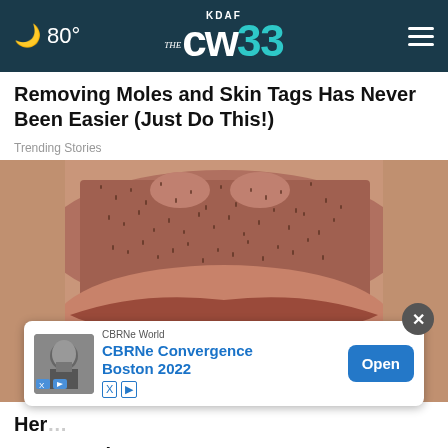KDAF CW 33 — 80°
Removing Moles and Skin Tags Has Never Been Easier (Just Do This!)
Trending Stories
[Figure (photo): Close-up photo of a man's smiling mouth showing bright white teeth with stubble beard]
Her... Cost You in 2022